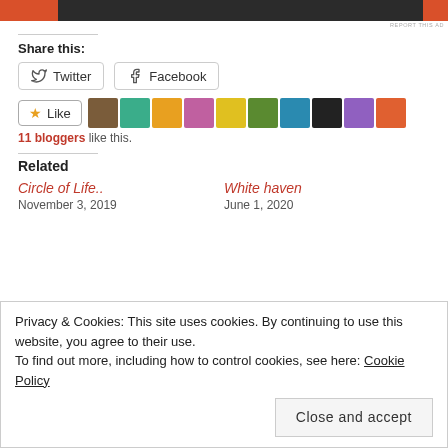[Figure (screenshot): Advertisement banner with orange and dark gray sections, REPORT THIS AD text]
Share this:
[Figure (screenshot): Twitter and Facebook share buttons]
[Figure (screenshot): Like button with star icon and blogger avatars]
11 bloggers like this.
Related
Circle of Life..
November 3, 2019
White haven
June 1, 2020
Privacy & Cookies: This site uses cookies. By continuing to use this website, you agree to their use. To find out more, including how to control cookies, see here: Cookie Policy